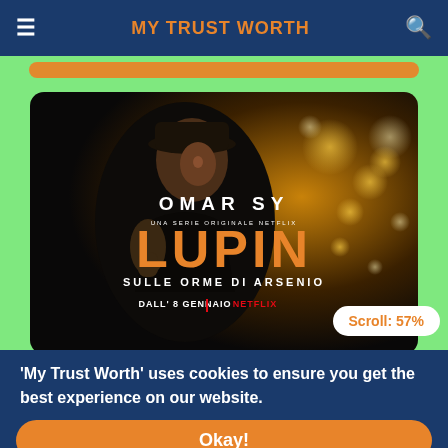MY TRUST WORTH
[Figure (photo): Netflix promotional poster for 'Lupin' series featuring Omar Sy. Dark background with bokeh lights, man in dark coat and cap. Text reads: OMAR SY, UNA SERIE ORIGINALE NETFLIX, LUPIN, SULLE ORME DI ARSENIO, DALL'8 GENNAIO | NETFLIX]
Scroll: 57%
'My Trust Worth' uses cookies to ensure you get the best experience on our website.
Okay!